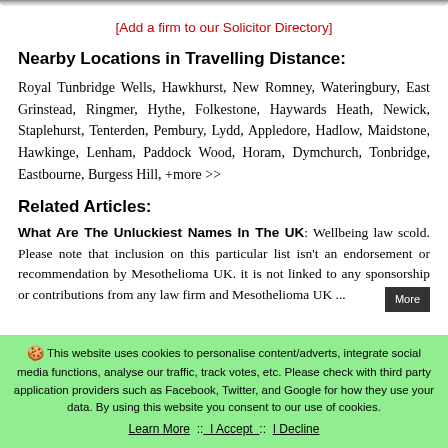[Add a firm to our Solicitor Directory]
Nearby Locations in Travelling Distance:
Royal Tunbridge Wells, Hawkhurst, New Romney, Wateringbury, East Grinstead, Ringmer, Hythe, Folkestone, Haywards Heath, Newick, Staplehurst, Tenterden, Pembury, Lydd, Appledore, Hadlow, Maidstone, Hawkinge, Lenham, Paddock Wood, Horam, Dymchurch, Tonbridge, Eastbourne, Burgess Hill, +more >>
Related Articles:
What Are The Unluckiest Names In The UK: Wellbeing law scold. Please note that inclusion on this particular list isn't an endorsement or recommendation by Mesothelioma UK. it is not linked to any sponsorship or contributions from any law firm and Mesothelioma UK ...
This website uses cookies to personalise content/adverts, integrate social media functions, analyse our traffic, track votes, etc. Please check with third party application providers such as Facebook, Twitter, and Google for how they use your data. By using this website you consent to our use of cookies. Learn More :: I Accept :: I Decline